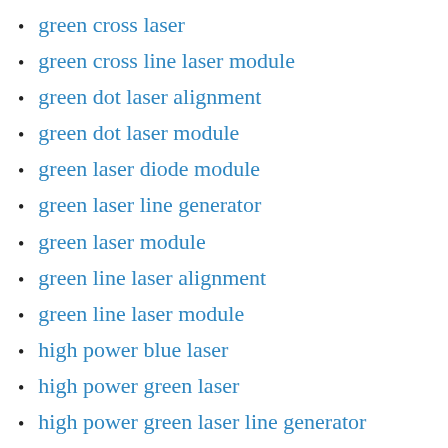green cross laser
green cross line laser module
green dot laser alignment
green dot laser module
green laser diode module
green laser line generator
green laser module
green line laser alignment
green line laser module
high power blue laser
high power green laser
high power green laser line generator
high power green laser module
high power infrared laser
high power laser module
high power red laser